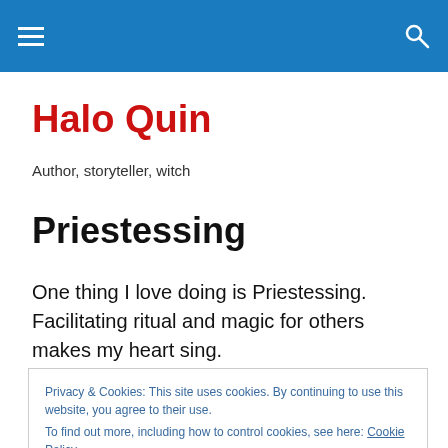Navigation bar with menu icon and search icon
Halo Quin
Author, storyteller, witch
Priestessing
One thing I love doing is Priestessing. Facilitating ritual and magic for others makes my heart sing.
Privacy & Cookies: This site uses cookies. By continuing to use this website, you agree to their use.
To find out more, including how to control cookies, see here: Cookie Policy
Close and accept